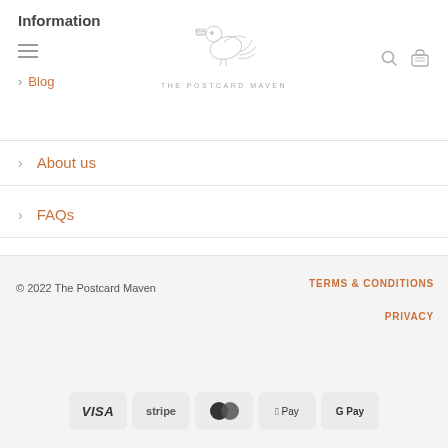Information
Blog
About us
FAQs
© 2022 The Postcard Maven  TERMS & CONDITIONS  PRIVACY
[Figure (logo): Payment method badges: VISA, stripe, MasterCard, Apple Pay, G Pay]